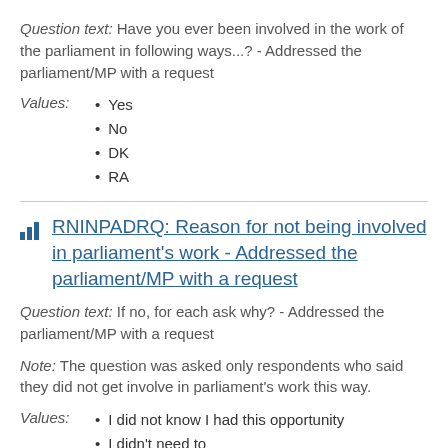Question text: Have you ever been involved in the work of the parliament in following ways...? - Addressed the parliament/MP with a request
Yes
No
DK
RA
RNINPADRQ: Reason for not being involved in parliament's work - Addressed the parliament/MP with a request
Question text: If no, for each ask why? - Addressed the parliament/MP with a request
Note: The question was asked only respondents who said they did not get involve in parliament's work this way.
I did not know I had this opportunity
I didn't need to
I can't travel to Tbilisi
I don't have time